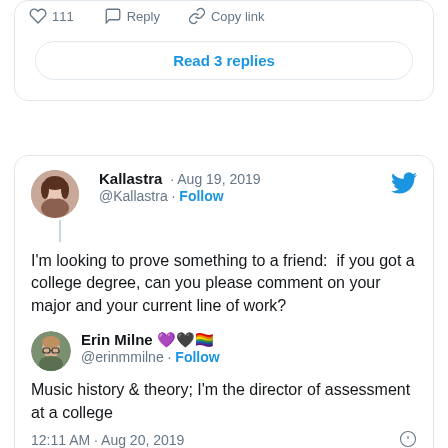111   Reply   Copy link
Read 3 replies
Kallastra · Aug 19, 2019
@Kallastra · Follow
I'm looking to prove something to a friend:  if you got a college degree, can you please comment on your major and your current line of work?
Erin Milne 💜🖤🏳️‍🌈
@erinmmilne · Follow
Music history & theory; I'm the director of assessment at a college
12:11 AM · Aug 20, 2019
Reply   Copy link